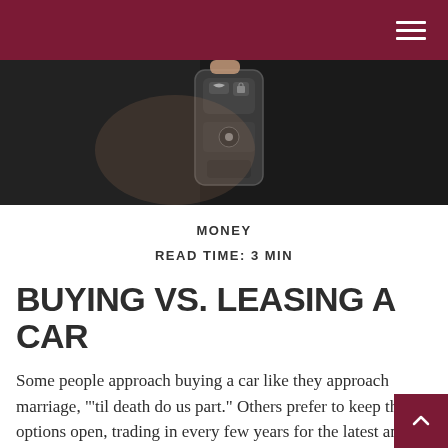[Figure (photo): Close-up photograph of a hand holding a car key fob/remote, dark background]
MONEY
READ TIME: 3 MIN
BUYING VS. LEASING A CAR
Some people approach buying a car like they approach marriage, "'til death do us part." Others prefer to keep their options open, trading in every few years for the latest and model, the most cutting-edge technology, or the highest horsepower. Whichever describes you best, we all face a